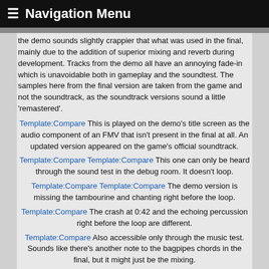≡ Navigation Menu
the demo sounds slightly crappier that what was used in the final, mainly due to the addition of superior mixing and reverb during development. Tracks from the demo all have an annoying fade-in which is unavoidable both in gameplay and the soundtest. The samples here from the final version are taken from the game and not the soundtrack, as the soundtrack versions sound a little 'remastered'.
Template:Compare This is played on the demo's title screen as the audio component of an FMV that isn't present in the final at all. An updated version appeared on the game's official soundtrack.
Template:Compare Template:Compare This one can only be heard through the sound test in the debug room. It doesn't loop.
Template:Compare Template:Compare The demo version is missing the tambourine and chanting right before the loop.
Template:Compare The crash at 0:42 and the echoing percussion right before the loop are different.
Template:Compare Also accessible only through the music test. Sounds like there's another note to the bagpipes chords in the final, but it might just be the mixing.
Template:Compare Accessible only through the debug room music test. The guitar sounds a lot crappier in the demo.
Template:Compare Template:Compare Template:Compare The sitar was changed (for the better) between demo and final.
Template:Compare Template:Compare The instrumentation is completely different. The demo version uses samples that sound like they came from an SNES game.
Playing anything in the music test past track 11 will result in a sequence